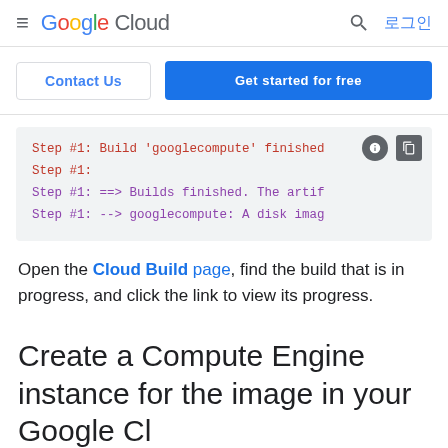Google Cloud 로그인
Contact Us  Get started for free
[Figure (screenshot): Code block showing build output lines: Step #1: Build 'googlecompute' finished, Step #1:, Step #1: ==> Builds finished. The artif, Step #1: --> googlecompute: A disk imag]
Open the Cloud Build page, find the build that is in progress, and click the link to view its progress.
Create a Compute Engine instance for the image in your Google Cloud project